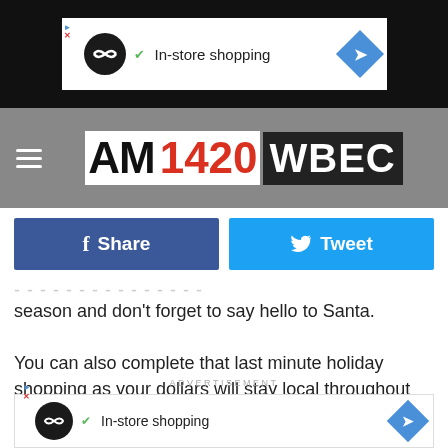[Figure (screenshot): Top advertisement banner showing In-store shopping ad on dark background]
[Figure (logo): AM1420 WBEC radio station logo on grey textured background with hamburger menu]
[Figure (screenshot): Facebook Share and Twitter Tweet social sharing buttons]
season and don't forget to say hello to Santa.
You can also complete that last minute holiday shopping as your dollars will stay local throughout the tri-state region plus you can indulge in hot chocolate and cookies to satisfy your appetite. This event is FREE and open to the public.
ADVERTISEMENT
[Figure (screenshot): Bottom advertisement banner showing In-store shopping ad]